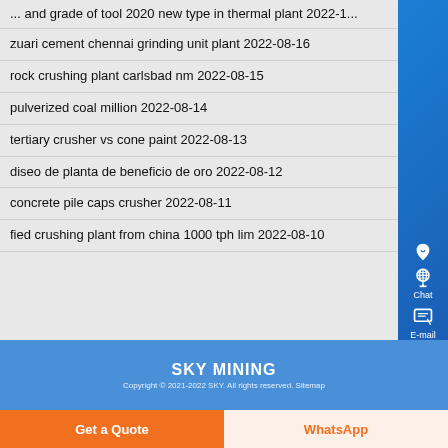... and grade of tool 2020 new type in thermal plant  2022-1...
zuari cement chennai grinding unit plant  2022-08-16
rock crushing plant carlsbad nm  2022-08-15
pulverized coal million  2022-08-14
tertiary crusher vs cone paint  2022-08-13
diseo de planta de beneficio de oro  2022-08-12
concrete pile caps crusher  2022-08-11
fied crushing plant from china 1000 tph lim  2022-08-10
SKY MINING
Copyright © 2021-2022 SKY. All rights reserved. Sitemap
Get a Quote
WhatsApp